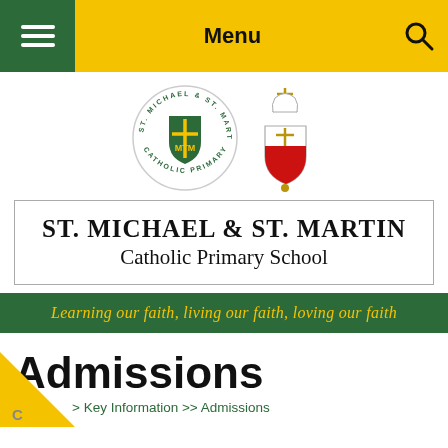Menu
[Figure (logo): St Michael & St Martin Catholic Primary School circular crest with green shield and cross, and a Bishop's heraldic crest]
ST. MICHAEL & ST. MARTIN Catholic Primary School
Learning our faith, living our faith, loving our faith
Admissions
> Key Information >> Admissions